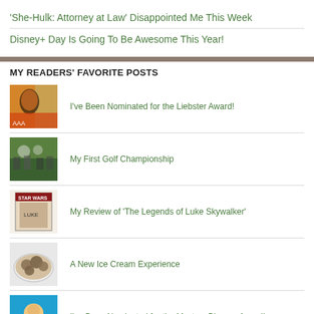'She-Hulk: Attorney at Law' Disappointed Me This Week
Disney+ Day Is Going To Be Awesome This Year!
MY READERS' FAVORITE POSTS
I've Been Nominated for the Liebster Award!
My First Golf Championship
My Review of 'The Legends of Luke Skywalker'
A New Ice Cream Experience
I've Been Nominated for the Mystery Blogger Award!